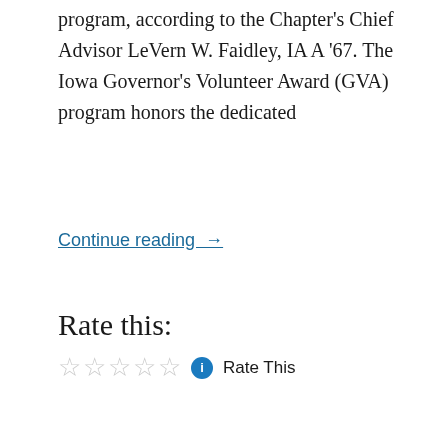program, according to the Chapter's Chief Advisor LeVern W. Faidley, IA A '67. The Iowa Governor's Volunteer Award (GVA) program honors the dedicated
Continue reading →
Rate this:
☆☆☆☆☆ ℹ Rate This
Tau Beta Pi HQ  9 Jun 2021  Uncategorized  Leave a comment